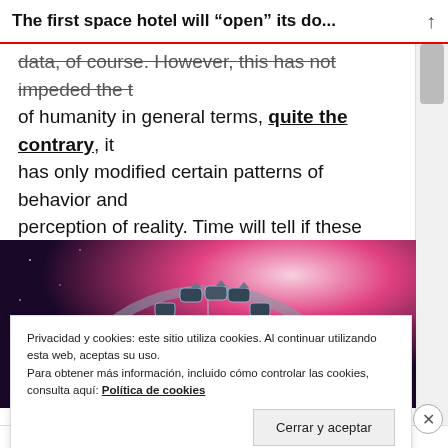The first space hotel will “open” its do...
data, of course. However, this has not impeded the t of humanity in general terms, quite the contrary, it has only modified certain patterns of behavior and perception of reality. Time will tell if these guidelines will lead to a better future.
[Figure (photo): Artistic rendering of a space hotel structure resembling a large ring/wheel with pods attached, set against a pink-magenta and dark space background.]
Privacidad y cookies: este sitio utiliza cookies. Al continuar utilizando esta web, aceptas su uso.
Para obtener más información, incluido cómo controlar las cookies, consulta aquí: Política de cookies
Cerrar y aceptar
Anuncios